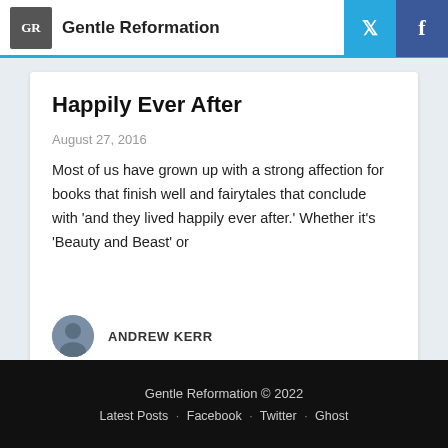Gentle Reformation
Happily Ever After
August 27, 2016
Most of us have grown up with a strong affection for books that finish well and fairytales that conclude with 'and they lived happily ever after.' Whether it's 'Beauty and Beast' or
ANDREW KERR
Gentle Reformation © 2022
Latest Posts · Facebook · Twitter · Ghost